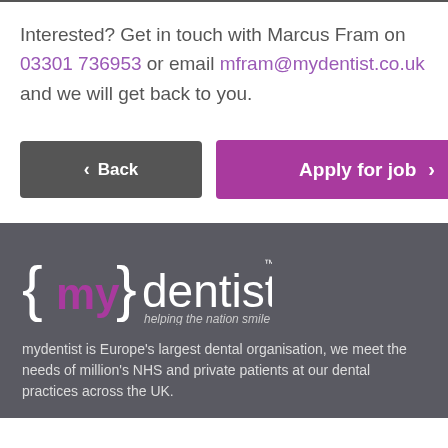Interested? Get in touch with Marcus Fram on 03301 736953 or email mfram@mydentist.co.uk and we will get back to you.
[Figure (other): Two buttons: a grey 'Back' button with left arrow, and a purple 'Apply for job' button with right arrow]
[Figure (logo): {my}dentist logo with tagline 'helping the nation smile' on dark grey footer background]
mydentist is Europe's largest dental organisation, we meet the needs of million's NHS and private patients at our dental practices across the UK.